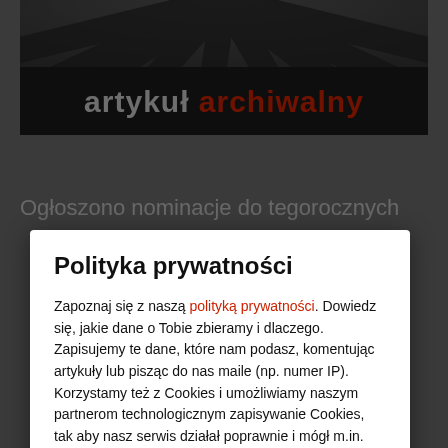[Figure (screenshot): Dark banner with radiating rays pattern and text 'artykuł archiwalny' in white and red on black bar]
Ogłoszono nominacje do tegorocznych
Polityka prywatności
Zapoznaj się z naszą polityką prywatności. Dowiedz się, jakie dane o Tobie zbieramy i dlaczego. Zapisujemy te dane, które nam podasz, komentując artykuły lub pisząc do nas maile (np. numer IP). Korzystamy też z Cookies i umożliwiamy naszym partnerom technologicznym zapisywanie Cookies, tak aby nasz serwis działał poprawnie i mógł m.in. wyświetlać komentarze, reklamy, linki do serwisów społecznościowych oraz zbierać dane statystyczne o ruchu w serwisie. OK, wchodzę